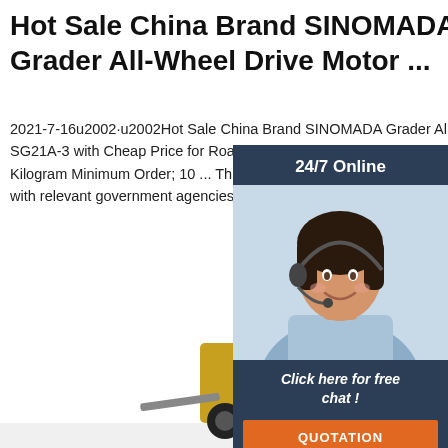Hot Sale China Brand SINOMADA Grader All-Wheel Drive Motor ...
2021-7-16u2002·u2002Hot Sale China Brand SINOMADA Grader All-Wheel Drive Motor Grader SG21A-3 with Cheap Price for Road New. US$ 60000 Kilogram. Get Freight Cost. Calculate M Kilogram Minimum Order; 10 ... This Verified S Business Registration profile has been indepen verified with relevant government agencies Le
[Figure (other): 24/7 online chat widget with a customer service representative photo, 'Click here for free chat!' text, and an orange QUOTATION button]
[Figure (photo): Motor grader machine (SINOMADA) shown at the bottom of the page, partial view of cab and body in yellow/black]
Get Price